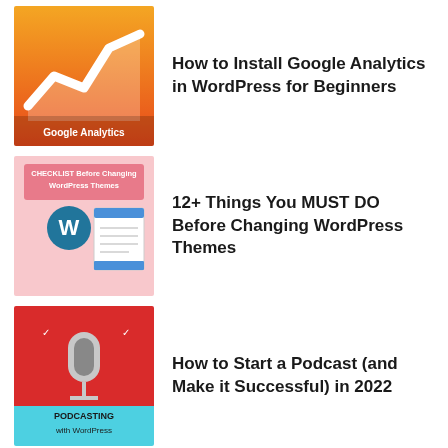[Figure (illustration): Google Analytics logo thumbnail - orange/red background with white line chart graphic and 'Google Analytics' text]
How to Install Google Analytics in WordPress for Beginners
[Figure (illustration): Checklist/WordPress theme thumbnail - pink background with WordPress logo and checklist/browser mockup graphics, text 'CHECKLIST Before Changing WordPress Themes']
12+ Things You MUST DO Before Changing WordPress Themes
[Figure (illustration): Podcasting thumbnail - red and cyan background with microphone icon and text 'PODCASTING with WordPress']
How to Start a Podcast (and Make it Successful) in 2022
[Figure (illustration): Database error thumbnail - light blue background with database icon and text 'Error Establishing a Database Connection']
How to Fix the Error Establishing a Database Connection in WordPress
Disclosure: Our content is reader-supported. This means if you click on some of our links, then we may